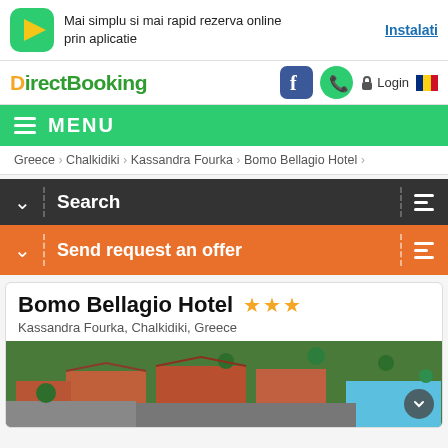[Figure (screenshot): DirectBooking mobile website screenshot showing hotel listing for Bomo Bellagio Hotel]
Mai simplu si mai rapid rezerva online prin aplicatie
Instalati
DirectBooking
Login
MENU
Greece > Chalkidiki > Kassandra Fourka > Bomo Bellagio Hotel >
Search
Send request an offer
Bomo Bellagio Hotel ★★★
Kassandra Fourka, Chalkidiki, Greece